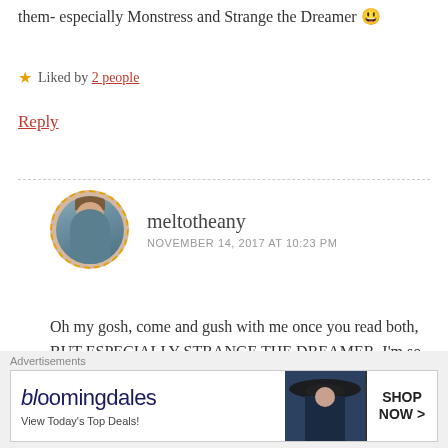them- especially Monstress and Strange the Dreamer 😃
★ Liked by 2 people
Reply
meltotheany
NOVEMBER 14, 2017 AT 10:23 PM
Oh my gosh, come and gush with me once you read both, BUT ESPECIALLY STRANGE THE DREAMER. I'm so unhealthy obsessed. And thank you for your kind words, always! I truly hope you enjoy both! Happy reading, love! 🧡✨
Advertisements
[Figure (other): Bloomingdale's advertisement banner: 'View Today's Top Deals!' with SHOP NOW > button and model with hat]